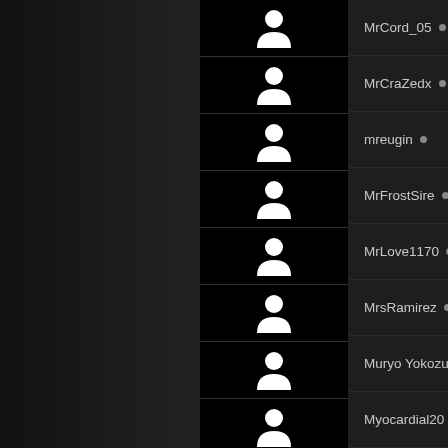MrCord_05 •
MrCraZedx •
mreugin •
MrFrostSire •
MrLove1170 •
MrsRamirez •
Muryo Yokozuna •
Myocardial20 •